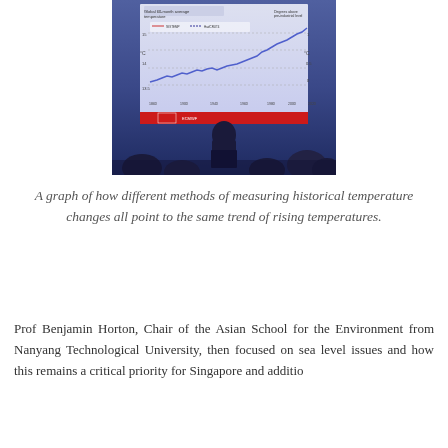[Figure (photo): A photograph of a presenter at a conference standing at a podium in front of a large projected screen showing a line graph of global 60-month average temperature trends measured by different methods (GISTEMP, ERA-51, HadCRUT4, ERA5, etc.) from approximately 1860 to 2020, showing a rising temperature trend. A red banner is visible at the bottom of the screen. The audience is seen in silhouette.]
A graph of how different methods of measuring historical temperature changes all point to the same trend of rising temperatures.
Prof Benjamin Horton, Chair of the Asian School for the Environment from Nanyang Technological University, then focused on sea level issues and how this remains a critical priority for Singapore and additio...